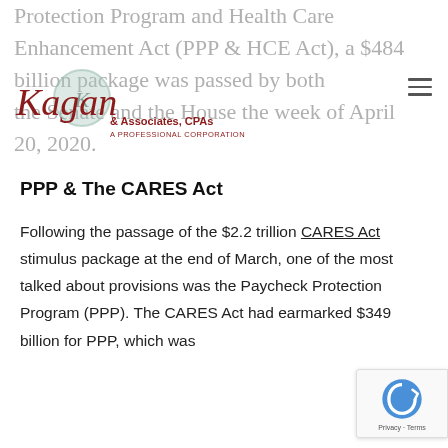Protection Program and Health Care Enhancement Act (PPP & HCE Act), a $484 billion package was passed by both the Senate and the House the week of April 20, 2020.
[Figure (logo): Kagan & Associates, CPAs - A Professional Corporation logo with circular K emblem]
PPP & The CARES Act
Following the passage of the $2.2 trillion CARES Act stimulus package at the end of March, one of the most talked about provisions was the Paycheck Protection Program (PPP). The CARES Act had earmarked $349 billion for PPP, which was